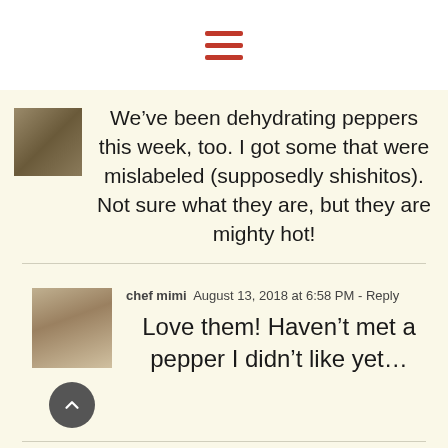[Figure (other): Hamburger menu icon with three horizontal red bars]
We’ve been dehydrating peppers this week, too. I got some that were mislabeled (supposedly shishitos). Not sure what they are, but they are mighty hot!
chef mimi  August 13, 2018 at 6:58 PM - Reply
Love them! Haven’t met a pepper I didn’t like yet…